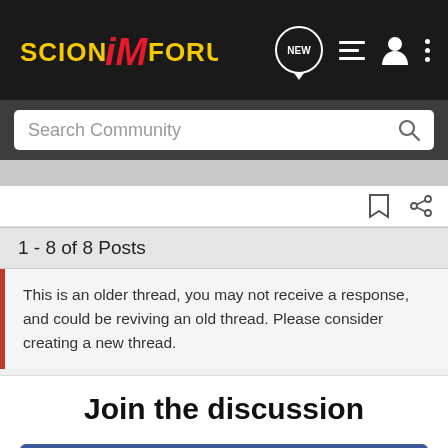[Figure (logo): Scion iM Forum logo with stylized red M on dark background]
Search Community
1 - 8 of 8 Posts
This is an older thread, you may not receive a response, and could be reviving an old thread. Please consider creating a new thread.
Join the discussion
Continue with Facebook
Continue with Google